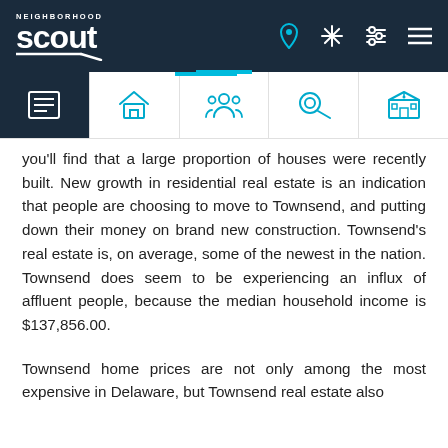Neighborhood Scout — navigation header with logo and icons
you'll find that a large proportion of houses were recently built. New growth in residential real estate is an indication that people are choosing to move to Townsend, and putting down their money on brand new construction. Townsend's real estate is, on average, some of the newest in the nation. Townsend does seem to be experiencing an influx of affluent people, because the median household income is $137,856.00.
Townsend home prices are not only among the most expensive in Delaware, but Townsend real estate also